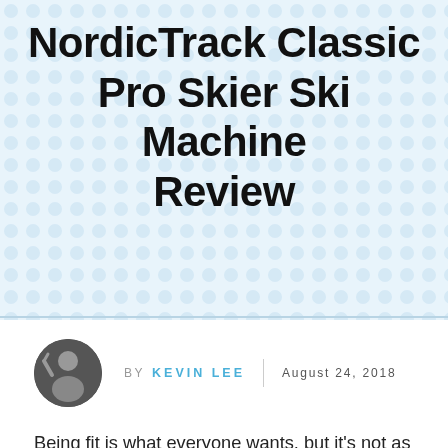NordicTrack Classic Pro Skier Ski Machine Review
BY KEVIN LEE | August 24, 2018
Being fit is what everyone wants, but it's not as easy it sounds. It requires commitment in terms of time, effort, and sometimes, your bank account. Going to the gym, for instance, requires a monthly membership and having to gear up every single time. Too much effort, right? But what if you can have a full workout without straining your